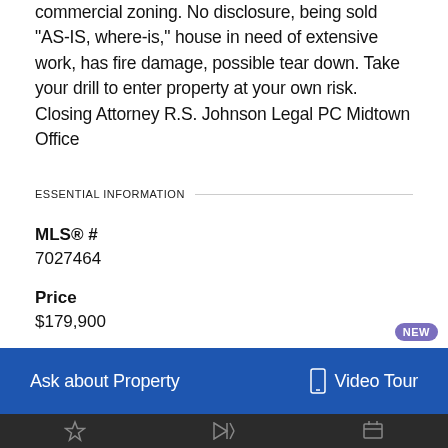commercial zoning. No disclosure, being sold "AS-IS, where-is," house in need of extensive work, has fire damage, possible tear down. Take your drill to enter property at your own risk. Closing Attorney R.S. Johnson Legal PC Midtown Office
ESSENTIAL INFORMATION
MLS® #
7027464
Price
$179,900